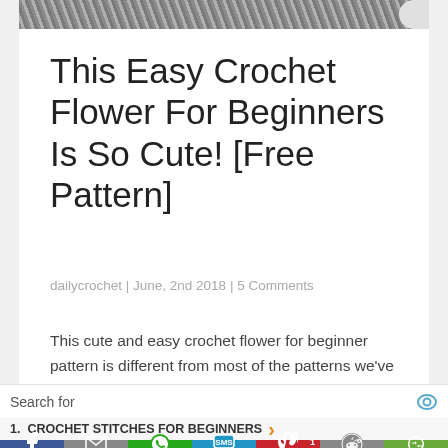[Figure (photo): Partial crochet texture image at top of article]
This Easy Crochet Flower For Beginners Is So Cute! [Free Pattern]
dailycrochet | June, 2nd 2018 | 5 Comments
This cute and easy crochet flower for beginner pattern is different from most of the patterns we've seen. It has six petals
Search for
1.  CROCHET STITCHES FOR BEGINNERS
[Figure (infographic): Social share buttons bar: Facebook, Email, WhatsApp, SMS, Pinterest (1), Reddit, More]